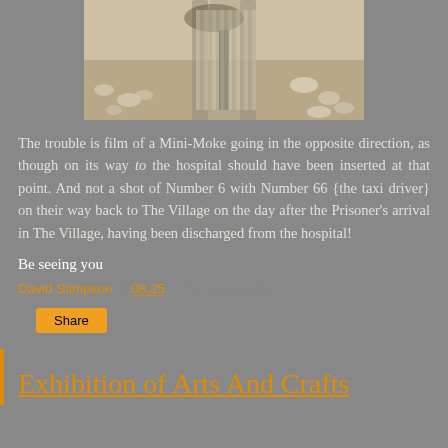[Figure (photo): Photograph of a path or track with stones/gravel, possibly showing a Mini-Moke route or Village location]
The trouble is film of a Mini-Moke going in the opposite direction, as though on its way to the hospital should have been inserted at that point. And not a shot of Number 6 with Number 66 {the taxi driver} on their way back to The Village on the day after the Prisoner's arrival in The Village, having been discharged from the hospital!
Be seeing you
David Stimpson at 08:25    No comments:
Share
Exhibition of Arts And Crafts